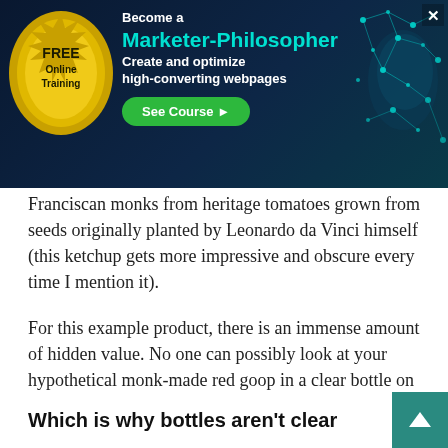[Figure (infographic): Advertisement banner: FREE Online Training – Become a Marketer-Philosopher. Create and optimize high-converting webpages. See Course button. Dark navy background with teal digital face graphic and gold wax seal.]
Franciscan monks from heritage tomatoes grown from seeds originally planted by Leonardo da Vinci himself (this ketchup gets more impressive and obscure every time I mention it).
For this example product, there is an immense amount of hidden value. No one can possibly look at your hypothetical monk-made red goop in a clear bottle on the shelf and see any more value than the red goop made in a factory in China in the clear bottle next to it.
Which is why bottles aren't clear